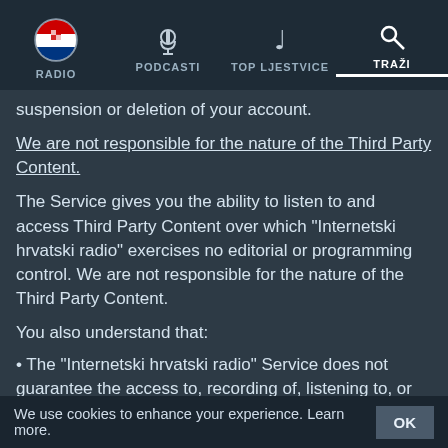RADIO | PODCASTI | TOP LJESTVICE | TRAŽI
suspension or deletion of your account.
We are not responsible for the nature of the Third Party Content.
The Service gives you the ability to listen to and access Third Party Content over which "Internetski hrvatski radio" exercises no editorial or programming control. We are not responsible for the nature of the Third Party Content.
You also understand that:
• The "Internetski hrvatski radio" Service does not guarantee the access to, recording of, listening to, or viewing of any particular Third Party Content;
• Third Party Content is not under "Internetski hrvatski radio"'s control and the "Internetski hrvatski radio" Service is not responsible for and does not endorse such Third Party Content;
We use cookies to enhance your experience. Learn more.